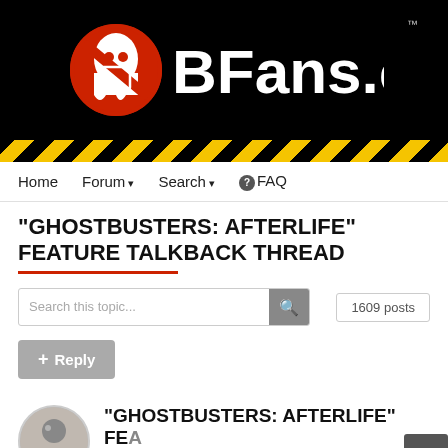[Figure (logo): GBFans.com logo on black background with Ghostbusters ghost icon and red circle, followed by 'BFans.com' in white bold text and TM mark]
[Figure (illustration): Hazard stripe bar with yellow and black diagonal stripes]
Home   Forum ▾   Search ▾   ❓FAQ
"GHOSTBUSTERS: AFTERLIFE" FEATURE TALKBACK THREAD
Search this topic...   1609 posts
+ Reply
[Figure (photo): User avatar thumbnail showing a person, circular, with green online indicator dot]
"GHOSTBUSTERS: AFTERLIFE" FEA
By mrmichaelt